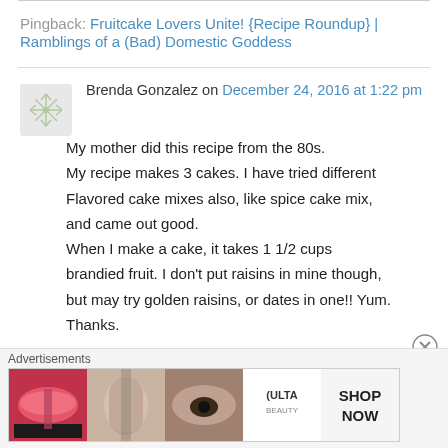Pingback: Fruitcake Lovers Unite! {Recipe Roundup} | Ramblings of a (Bad) Domestic Goddess
Brenda Gonzalez on December 24, 2016 at 1:22 pm
My mother did this recipe from the 80s. My recipe makes 3 cakes. I have tried different Flavored cake mixes also, like spice cake mix, and came out good. When I make a cake, it takes 1 1/2 cups brandied fruit. I don't put raisins in mine though, but may try golden raisins, or dates in one!! Yum. Thanks.
Advertisements